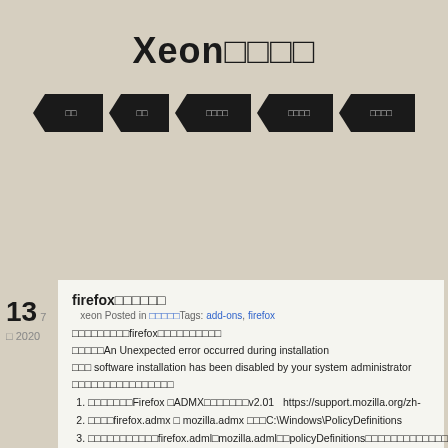Xeon□□□□
[Figure (infographic): Five black arrow/chevron navigation buttons with small white CJK text labels]
firefox□□□□□□
xeon Posted in □□□□□Tags: add-ons, firefox
□□□□□□□□□firefox□□□□□□□□□□
□□□□□An Unexpected error occurred during installation
□□□ software installation has been disabled by your system administrator
□□□□□□□□□□□□□□□□
□□□□□□□Firefox □ADMX□□□□□□□v2.01   https://support.mozilla.org/zh-
□□□□firefox.admx □ mozilla.admx □□□C:\Windows\PolicyDefinitions
□□□□□□□□□□□firefox.adml□mozilla.adml□□policyDefinitions□□□□□□□□□□□□□
□□□□□□□□□"□□□"□□□□□□□□□□□http://mozilla.org